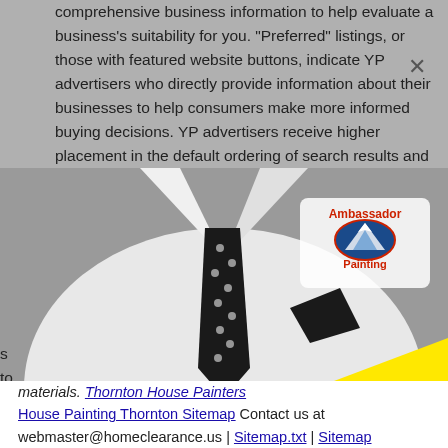comprehensive business information to help evaluate a business's suitability for you. "Preferred" listings, or those with featured website buttons, indicate YP advertisers who directly provide information about their businesses to help consumers make more informed buying decisions. YP advertisers receive higher placement in the default ordering of search results and may appear in sponsored
[Figure (photo): Black and white photo of a man in a white suit with polka-dot tie and pocket square, wearing an Ambassador Painting logo on his chest. A large yellow triangle overlays the lower right portion of the image.]
materials. Thornton House Painters House Painting Thornton Sitemap Contact us at webmaster@homeclearance.us | Sitemap.txt | Sitemap